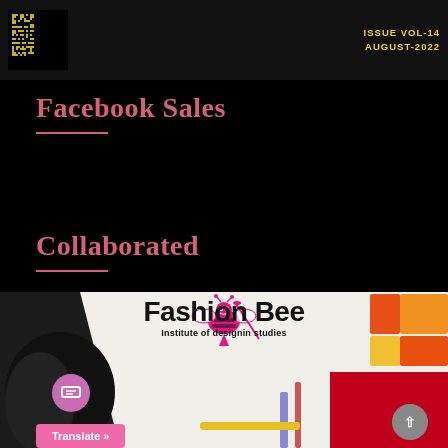[Figure (photo): Dark header with QR code on left and 'ISSUE VOL-14 AUGUST-2022' text on right in yellow/white]
Facebook Sales
Collaborated
[Figure (logo): Fashion Bee Institute of designin studies logo with bee mascot, fashion design tools on white triangular background]